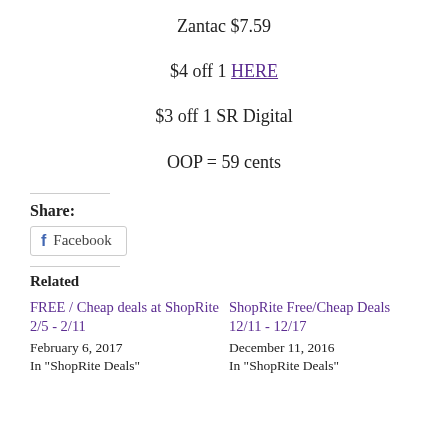Zantac $7.59
$4 off 1 HERE
$3 off 1 SR Digital
OOP = 59 cents
Share:
Facebook
Related
FREE / Cheap deals at ShopRite 2/5 - 2/11
February 6, 2017
In "ShopRite Deals"
ShopRite Free/Cheap Deals 12/11 - 12/17
December 11, 2016
In "ShopRite Deals"